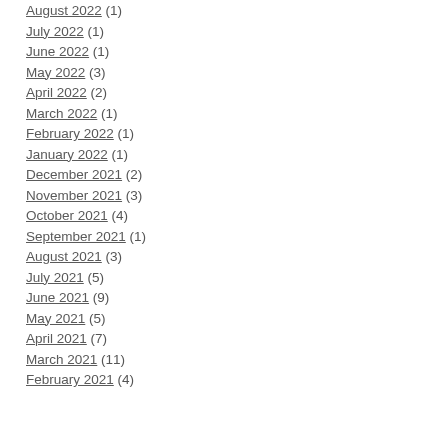August 2022 (1)
July 2022 (1)
June 2022 (1)
May 2022 (3)
April 2022 (2)
March 2022 (1)
February 2022 (1)
January 2022 (1)
December 2021 (2)
November 2021 (3)
October 2021 (4)
September 2021 (1)
August 2021 (3)
July 2021 (5)
June 2021 (9)
May 2021 (5)
April 2021 (7)
March 2021 (11)
February 2021 (4)